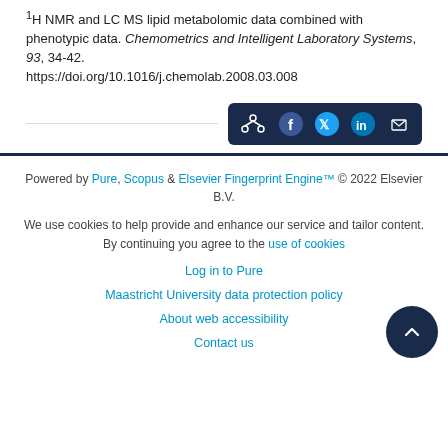1H NMR and LC MS lipid metabolomic data combined with phenotypic data. Chemometrics and Intelligent Laboratory Systems, 93, 34-42. https://doi.org/10.1016/j.chemolab.2008.03.008
[Figure (other): Share buttons bar with dark navy background containing share icon, Facebook, Twitter, LinkedIn, and email icons]
Powered by Pure, Scopus & Elsevier Fingerprint Engine™ © 2022 Elsevier B.V.
We use cookies to help provide and enhance our service and tailor content. By continuing you agree to the use of cookies
Log in to Pure
Maastricht University data protection policy
About web accessibility
Contact us